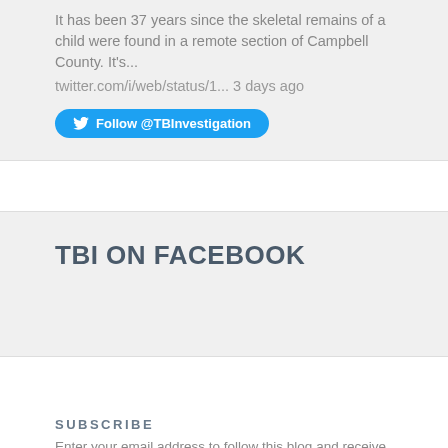It has been 37 years since the skeletal remains of a child were found in a remote section of Campbell County. It's... twitter.com/i/web/status/1... 3 days ago
Follow @TBInvestigation
TBI ON FACEBOOK
SUBSCRIBE
Enter your email address to follow this blog and receive